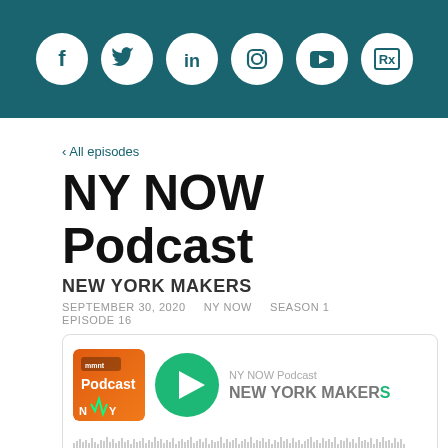[Figure (infographic): Dark teal header bar with 6 social media icons in white circles: Facebook, Twitter, LinkedIn, Instagram, YouTube, and a website/Rx icon]
‹ All episodes
NY NOW Podcast
NEW YORK MAKERS
SEPTEMBER 30, 2020   NY NOW   SEASON 1  EPISODE 16
[Figure (screenshot): Podcast player widget showing NY NOW Podcast thumbnail (orange with NY waveform logo), green play button, text 'NY NOW Podcast' and 'NEW YORK MAKERS' in bold, audio waveform bar, and social sharing icons at bottom]